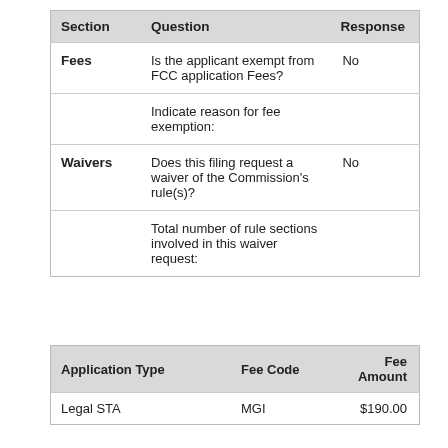| Section | Question | Response |
| --- | --- | --- |
| Fees | Is the applicant exempt from FCC application Fees? | No |
|  | Indicate reason for fee exemption: |  |
| Waivers | Does this filing request a waiver of the Commission's rule(s)? | No |
|  | Total number of rule sections involved in this waiver request: |  |
| Application Type | Fee Code | Fee Amount |
| --- | --- | --- |
| Legal STA | MGI | $190.00 |